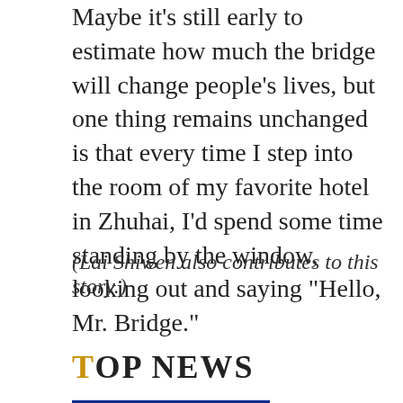Maybe it's still early to estimate how much the bridge will change people's lives, but one thing remains unchanged is that every time I step into the room of my favorite hotel in Zhuhai, I'd spend some time standing by the window, looking out and saying "Hello, Mr. Bridge."
(Lai Shiwen also contributes to this story.)
TOP NEWS
[Figure (photo): A large conference hall with a bright blue illuminated stage backdrop with Chinese text and logo, audience seated in rows of chairs]
Xi Jinping calls for an open, shared services economy
China    13:47, 31-Aug-2022
[Figure (photo): Partial photo visible at bottom of page]